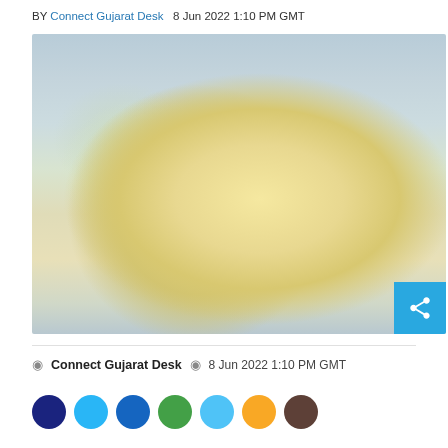BY Connect Gujarat Desk  8 Jun 2022 1:10 PM GMT
[Figure (photo): A white bowl of creamy macaroni and cheese with a wooden spoon, garnished with herbs, placed on a light blue cloth napkin. A small bowl of chopped herbs is visible in the background.]
◉ Connect Gujarat Desk  ◉ 8 Jun 2022 1:10 PM GMT
[Figure (other): Row of social media share icons (circular buttons in various colors: dark blue, light blue, blue, green, light blue, yellow, brown)]